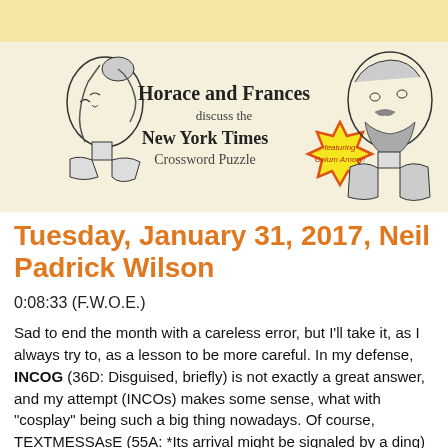[Figure (illustration): Header illustration showing a woman (Frances) on the left and a man (Horace) on the right, with text 'Horace and Frances discuss the New York Times Crossword Puzzle' in the center, and a starburst badge reading 'featuring Colum Amory!']
Tuesday, January 31, 2017, Neil Padrick Wilson
0:08:33 (F.W.O.E.)
Sad to end the month with a careless error, but I'll take it, as I always try to, as a lesson to be more careful. In my defense, INCOG (36D: Disguised, briefly) is not exactly a great answer, and my attempt (INCOs) makes some sense, what with "cosplay" being such a big thing nowadays. Of course, TEXTMESSAsE (55A: *Its arrival might be signaled by a ding) makes no sense at all. Check Your Crosses.